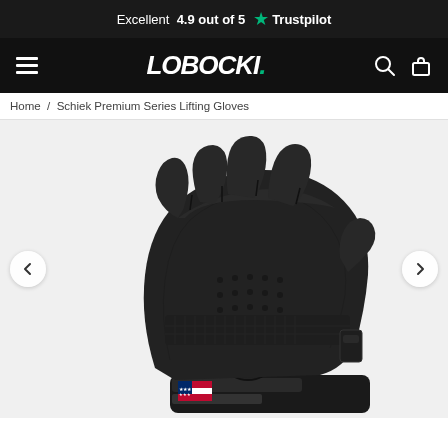Excellent 4.9 out of 5 ★ Trustpilot
≡ LOBOCKI. 🔍 🛍
Home / Schiek Premium Series Lifting Gloves
[Figure (photo): Black fingerless weight lifting glove (Schiek Premium Series) photographed on white background, showing palm side with textured grip, US flag logo patch, and wrist strap. Navigation arrows on left and right sides.]